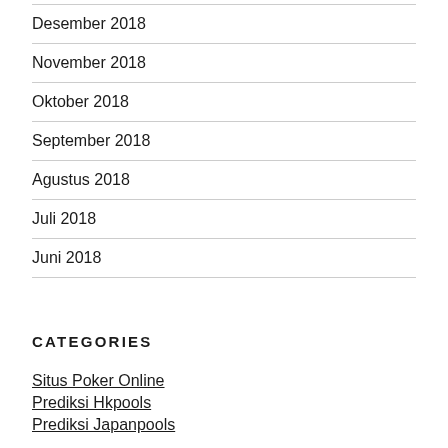Desember 2018
November 2018
Oktober 2018
September 2018
Agustus 2018
Juli 2018
Juni 2018
CATEGORIES
Situs Poker Online
Prediksi Hkpools
Prediksi Japanpools